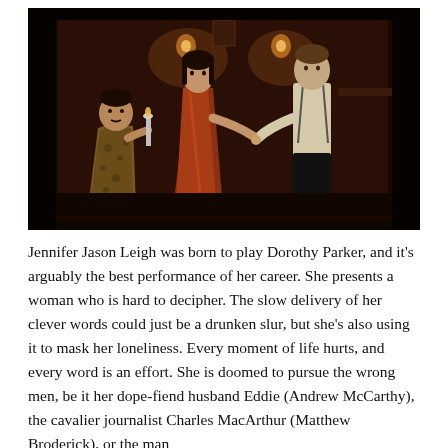[Figure (photo): A film still showing three people in a warmly lit, vintage-decorated room with dark red walls. On the left is a man in a patterned robe seated and holding something. In the center is a woman in a red/orange robe. On the right is a young man in a white shirt with suspenders. The scene has a 1920s–1930s period look with dim, warm lighting.]
Jennifer Jason Leigh was born to play Dorothy Parker, and it's arguably the best performance of her career. She presents a woman who is hard to decipher. The slow delivery of her clever words could just be a drunken slur, but she's also using it to mask her loneliness. Every moment of life hurts, and every word is an effort. She is doomed to pursue the wrong men, be it her dope-fiend husband Eddie (Andrew McCarthy), the cavalier journalist Charles MacArthur (Matthew Broderick), or the man